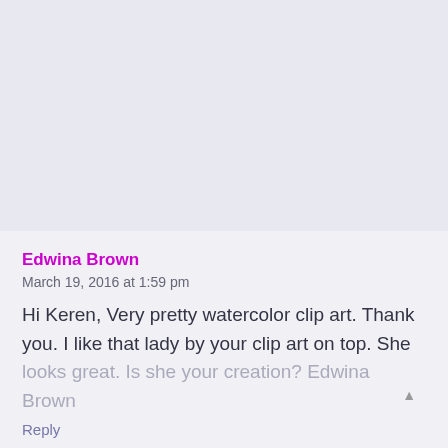Edwina Brown
March 19, 2016 at 1:59 pm
Hi Keren, Very pretty watercolor clip art. Thank you. I like that lady by your clip art on top. She looks great. Is she your creation? Edwina Brown
Reply